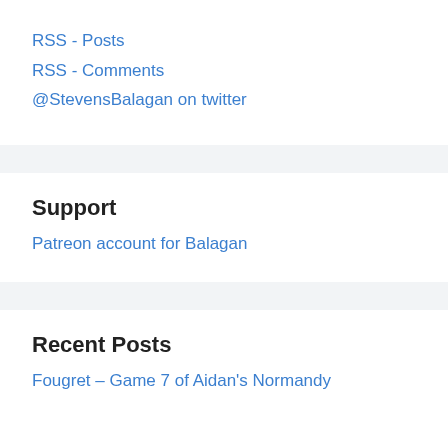RSS - Posts
RSS - Comments
@StevensBalagan on twitter
Support
Patreon account for Balagan
Recent Posts
Fougret – Game 7 of Aidan's Normandy